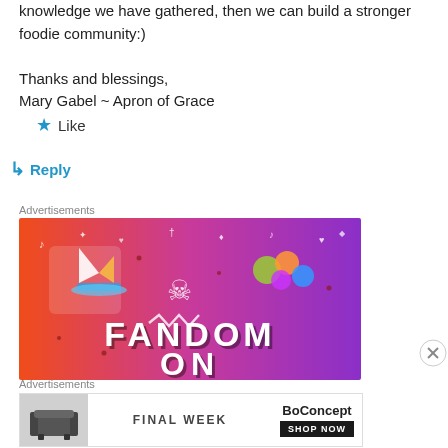knowledge we have gathered, then we can build a stronger foodie community:)
Thanks and blessings,
Mary Gabel ~ Apron of Grace
Like
Reply
Advertisements
[Figure (illustration): Fandom ON advertisement banner with colorful orange-to-purple gradient background, cartoon stickers (sailboat, skull, dice, gems), and 'FANDOM ON' text in bold white letters]
Advertisements
[Figure (illustration): BoConcept advertisement showing a dark armchair on the left, 'FINAL WEEK' text in center, and BoConcept logo with 'SHOP NOW' button on the right]